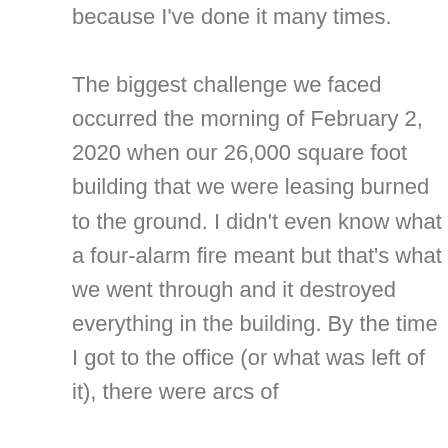because I've done it many times.

The biggest challenge we faced occurred the morning of February 2, 2020 when our 26,000 square foot building that we were leasing burned to the ground. I didn't even know what a four-alarm fire meant but that's what we went through and it destroyed everything in the building. By the time I got to the office (or what was left of it), there were arcs of